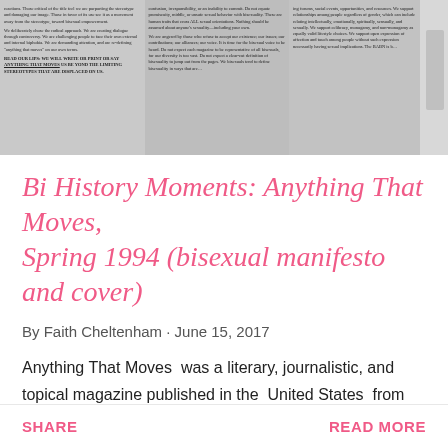[Figure (photo): Black and white photograph of a printed magazine page showing dense columnar text, appearing to be from the bisexual manifesto published in Anything That Moves magazine.]
Bi History Moments: Anything That Moves, Spring 1994 (bisexual manifesto and cover)
By Faith Cheltenham · June 15, 2017
Anything That Moves  was a literary, journalistic, and topical magazine published in the  United States  from 1990 to 2002. [1]  It was created as an expansion of the  San Francisco   Bay Area Bisexual Network  (BABN) newsletter by BABN member, Kar…
SHARE
READ MORE